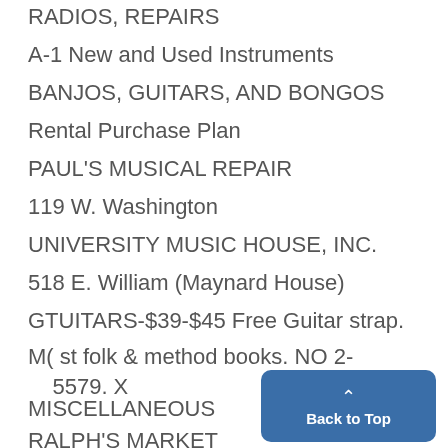RADIOS, REPAIRS
A-1 New and Used Instruments
BANJOS, GUITARS, AND BONGOS
Rental Purchase Plan
PAUL'S MUSICAL REPAIR
119 W. Washington
UNIVERSITY MUSIC HOUSE, INC.
518 E. William (Maynard House)
GTUITARS-$39-$45 Free Guitar strap.
M( st folk & method books. NO 2-5579. X
MISCELLANEOUS
RALPH'S MARKET
- 700 Packard